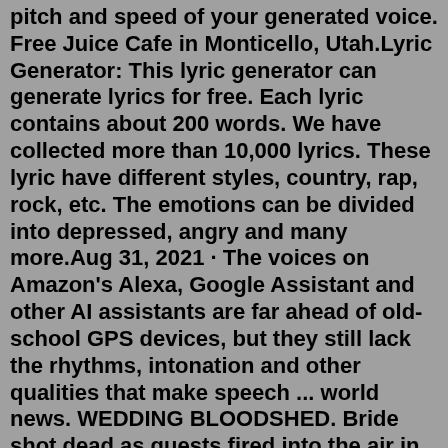pitch and speed of your generated voice. Free Juice Cafe in Monticello, Utah.Lyric Generator: This lyric generator can generate lyrics for free. Each lyric contains about 200 words. We have collected more than 10,000 lyrics. These lyric have different styles, country, rap, rock, etc. The emotions can be divided into depressed, angry and many more.Aug 31, 2021 · The voices on Amazon's Alexa, Google Assistant and other AI assistants are far ahead of old-school GPS devices, but they still lack the rhythms, intonation and other qualities that make speech ... world news. WEDDING BLOODSHED. Bride shot dead as guests fired into the air in celebration gone wrong. MAHVASH Leghaei, 24, was toasting her marriage following the ceremony when a shot was blasted from a high-powered hunting rifle. World News.About Wrld Juice Mic Does What Use . ... and allow Celebrity Voice Changer to use them when it is running. Jarad Anthony Higgins (December 2, 1998 - December 8, 2019), known professionally as Juice Wrld (pronounced "juice world"; stylized as Juice